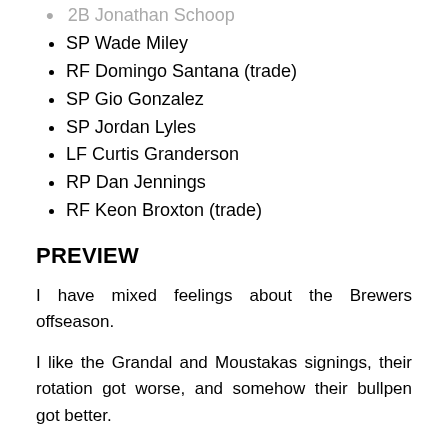2B Jonathan Schoop
SP Wade Miley
RF Domingo Santana (trade)
SP Gio Gonzalez
SP Jordan Lyles
LF Curtis Granderson
RP Dan Jennings
RF Keon Broxton (trade)
PREVIEW
I have mixed feelings about the Brewers offseason.
I like the Grandal and Moustakas signings, their rotation got worse, and somehow their bullpen got better.
Their core four of: 2018 NL MVP Christian Yelich,